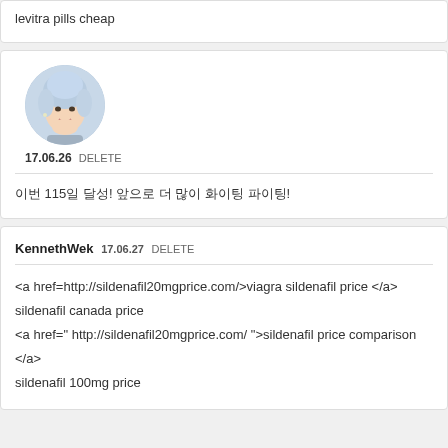levitra pills cheap
[Figure (photo): Circular avatar photo of a person with light blue/silver hair]
17.06.26 DELETE
이번 115일 달성! 앞으로 더 많이 화이팅 파이팅!
KennethWek 17.06.27 DELETE
<a href=http://sildenafil20mgprice.com/>viagra sildenafil price </a> sildenafil canada price <a href=" http://sildenafil20mgprice.com/ ">sildenafil price comparison </a> sildenafil 100mg price